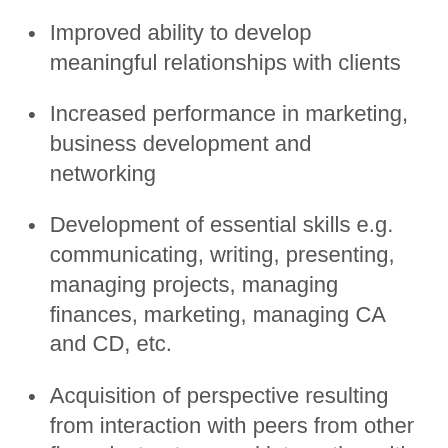Improved ability to develop meaningful relationships with clients
Increased performance in marketing, business development and networking
Development of essential skills e.g. communicating, writing, presenting, managing projects, managing finances, marketing, managing CA and CD, etc.
Acquisition of perspective resulting from interaction with peers from other firms, instructors, and interaction with contractors in the Young Contractors program
Increased focus, job satisfaction and motivation